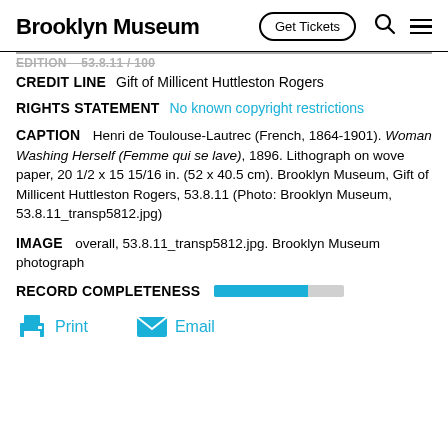Brooklyn Museum | Get Tickets
CREDIT LINE   Gift of Millicent Huttleston Rogers
RIGHTS STATEMENT   No known copyright restrictions
CAPTION   Henri de Toulouse-Lautrec (French, 1864-1901). Woman Washing Herself (Femme qui se lave), 1896. Lithograph on wove paper, 20 1/2 x 15 15/16 in. (52 x 40.5 cm). Brooklyn Museum, Gift of Millicent Huttleston Rogers, 53.8.11 (Photo: Brooklyn Museum, 53.8.11_transp5812.jpg)
IMAGE   overall, 53.8.11_transp5812.jpg. Brooklyn Museum photograph
RECORD COMPLETENESS
Print   Email